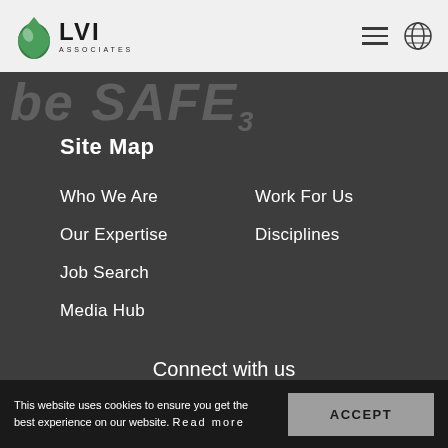LVI Associates
[Figure (logo): LVI Associates logo with green water drop icon]
be SAFE3
Site Map
Who We Are
Work For Us
Our Expertise
Disciplines
Job Search
Media Hub
Connect with us
[Figure (infographic): Social media icons row: Facebook, LinkedIn, Twitter, Instagram, YouTube, WeChat]
Cookie Policy | German Internal Privacy Policy |
This website uses cookies to ensure you get the best experience on our website. Read more
ACCEPT